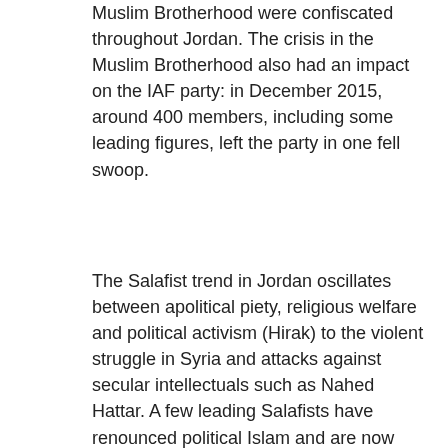Muslim Brotherhood were confiscated throughout Jordan. The crisis in the Muslim Brotherhood also had an impact on the IAF party: in December 2015, around 400 members, including some leading figures, left the party in one fell swoop.
The Salafist trend in Jordan oscillates between apolitical piety, religious welfare and political activism (Hirak) to the violent struggle in Syria and attacks against secular intellectuals such as Nahed Hattar. A few leading Salafists have renounced political Islam and are now promoting secular political ideas.
[Figure (illustration): Coat of arms of Jordan on a black background, showing a crown with red and gold decorations, a black eagle, red draping, and crossed swords/spears.]